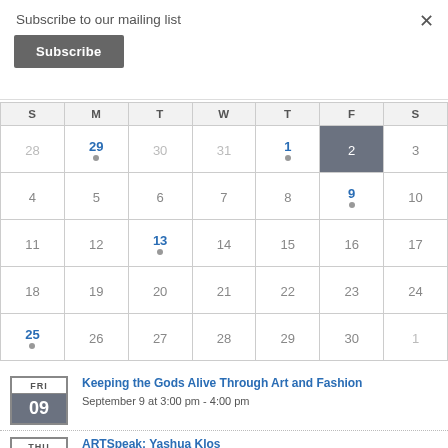Subscribe to our mailing list
Subscribe
| S | M | T | W | T | F | S |
| --- | --- | --- | --- | --- | --- | --- |
| 28 | 29 | 30 | 31 | 1 | 2 | 3 |
| 4 | 5 | 6 | 7 | 8 | 9 | 10 |
| 11 | 12 | 13 | 14 | 15 | 16 | 17 |
| 18 | 19 | 20 | 21 | 22 | 23 | 24 |
| 25 | 26 | 27 | 28 | 29 | 30 | 1 |
[Figure (other): Event badge: FRI 09]
Keeping the Gods Alive Through Art and Fashion
September 9 at 3:00 pm - 4:00 pm
[Figure (other): Event badge: THU (partially visible)]
ARTSpeak: Yashua Klos